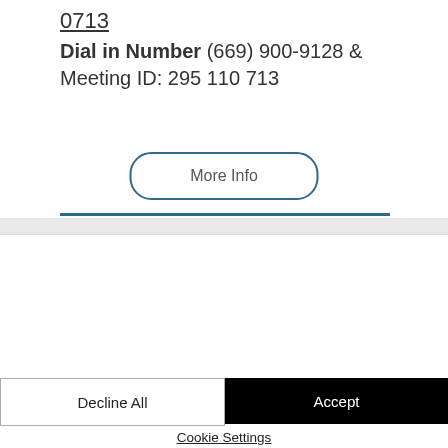0713
Dial in Number (669) 900-9128 & Meeting ID: 295 110 713
More Info
We use cookies and similar technologies to enable services and functionality on our site and to understand your interaction with our service. By clicking on accept, you agree to our use of such technologies for marketing and analytics. See Privacy Policy
Decline All
Accept
Cookie Settings